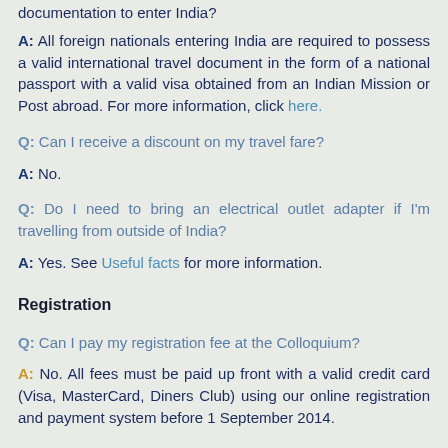documentation to enter India?
A: All foreign nationals entering India are required to possess a valid international travel document in the form of a national passport with a valid visa obtained from an Indian Mission or Post abroad. For more information, click here.
Q: Can I receive a discount on my travel fare?
A: No.
Q: Do I need to bring an electrical outlet adapter if I'm travelling from outside of India?
A: Yes. See Useful facts for more information.
Registration
Q: Can I pay my registration fee at the Colloquium?
A: No. All fees must be paid up front with a valid credit card (Visa, MasterCard, Diners Club) using our online registration and payment system before 1 September 2014.